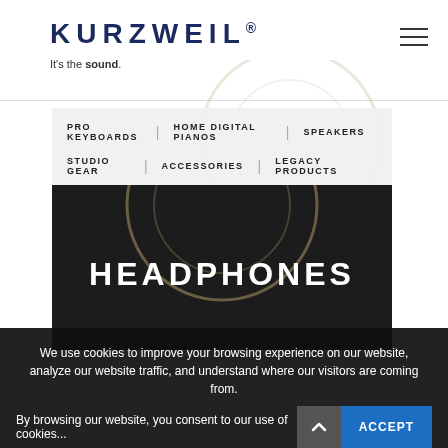KURZWEIL® It's the sound.
PRO KEYBOARDS
HOME DIGITAL PIANOS
SPEAKERS
STUDIO GEAR
ACCESSORIES
LEGACY PRODUCTS
HEADPHONES
We use cookies to improve your browsing experience on our website, analyze our website traffic, and understand where our visitors are coming from.

By browsing our website, you consent to our use of cookies...
ACCEPT